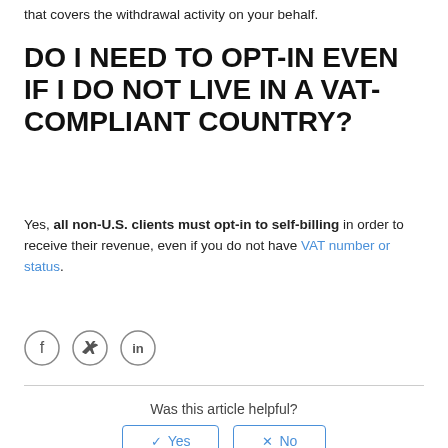that covers the withdrawal activity on your behalf.
DO I NEED TO OPT-IN EVEN IF I DO NOT LIVE IN A VAT-COMPLIANT COUNTRY?
Yes, all non-U.S. clients must opt-in to self-billing in order to receive their revenue, even if you do not have VAT number or status.
[Figure (other): Social media share icons: Facebook, Twitter, LinkedIn]
Was this article helpful?
170 out of 223 found this helpful